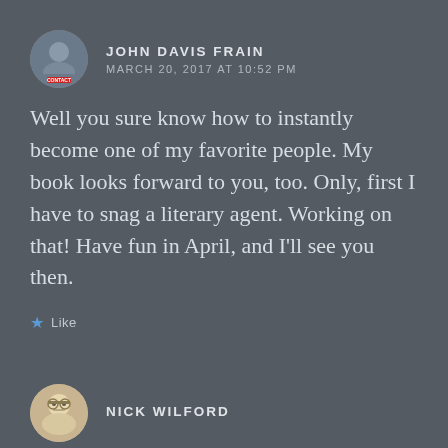JOHN DAVIS FRAIN
MARCH 20, 2017 AT 10:52 PM
Well you sure know how to instantly become one of my favorite people. My book looks forward to you, too. Only, first I have to snag a literary agent. Working on that! Have fun in April, and I'll see you then.
Like
NICK WILFORD